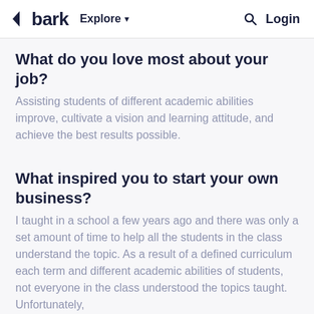bark  Explore  Login
What do you love most about your job?
Assisting students of different academic abilities improve, cultivate a vision and learning attitude, and achieve the best results possible.
What inspired you to start your own business?
I taught in a school a few years ago and there was only a set amount of time to help all the students in the class understand the topic. As a result of a defined curriculum each term and different academic abilities of students, not everyone in the class understood the topics taught. Unfortunately,